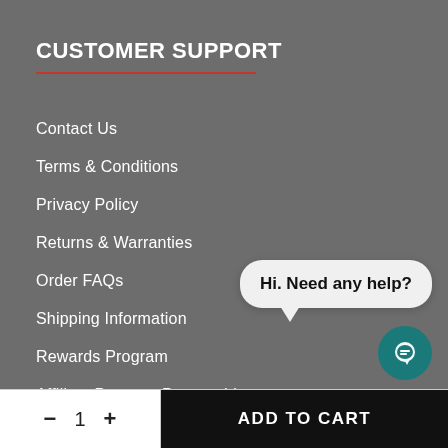CUSTOMER SUPPORT
Contact Us
Terms & Conditions
Privacy Policy
Returns & Warranties
Order FAQs
Shipping Information
Rewards Program
Affiliate Program Partnership
[Figure (illustration): Chat bubble with text 'Hi. Need any help?' and a teal chat button icon below it]
− 1 + ADD TO CART